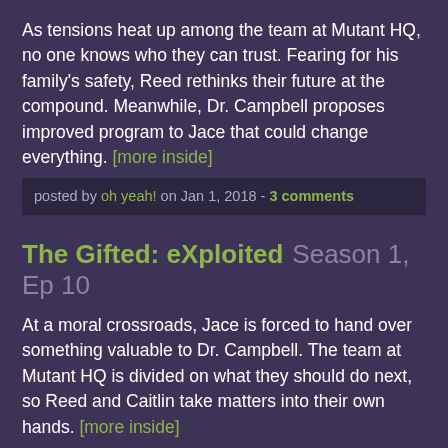As tensions heat up among the team at Mutant HQ, no one knows who they can trust. Fearing for his family's safety, Reed rethinks their future at the compound. Meanwhile, Dr. Campbell proposes improved program to Jace that could change everything. [more inside]
posted by oh yeah! on Jan 1, 2018 - 3 comments
The Gifted: eXploited  Season 1, Ep 10
At a moral crossroads, Jace is forced to hand over something valuable to Dr. Campbell. The team at Mutant HQ is divided on what they should do next, so Reed and Caitlin take matters into their own hands. [more inside]
posted by oh yeah! on Dec 11, 2017 - 10 comments
The Gifted: outfoX  Season 1, Ep 9